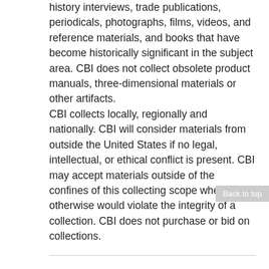history interviews, trade publications, periodicals, photographs, films, videos, and reference materials, and books that have become historically significant in the subject area. CBI does not collect obsolete product manuals, three-dimensional materials or other artifacts.
CBI collects locally, regionally and nationally. CBI will consider materials from outside the United States if no legal, intellectual, or ethical conflict is present. CBI may accept materials outside of the confines of this collecting scope when to do otherwise would violate the integrity of a collection. CBI does not purchase or bid on collections.